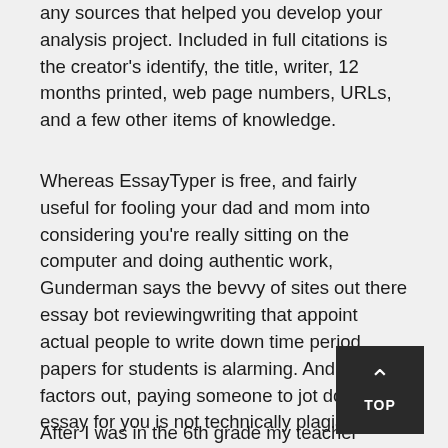any sources that helped you develop your analysis project. Included in full citations is the creator's identify, the title, writer, 12 months printed, web page numbers, URLs, and a few other items of knowledge.
Whereas EssayTyper is free, and fairly useful for fooling your dad and mom into considering you're really sitting on the computer and doing authentic work, Gunderman says the bevvy of sites out there essay bot reviewingwriting that appoint actual people to write down time period papers for students is alarming. And, he factors out, paying someone to jot down an essay for you is not technically plagiarism.
After I was in the 6th grade my teacher